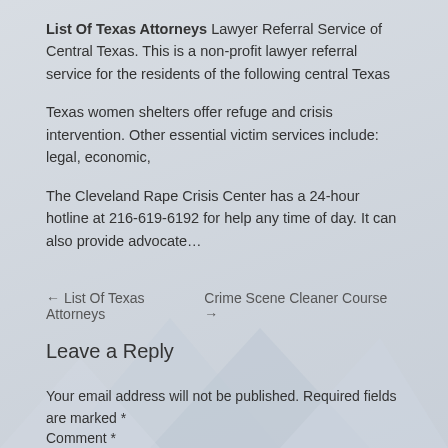List Of Texas Attorneys Lawyer Referral Service of Central Texas. This is a non-profit lawyer referral service for the residents of the following central Texas
Texas women shelters offer refuge and crisis intervention. Other essential victim services include: legal, economic,
The Cleveland Rape Crisis Center has a 24-hour hotline at 216-619-6192 for help any time of day. It can also provide advocate…
← List Of Texas Attorneys    Crime Scene Cleaner Course →
Leave a Reply
Your email address will not be published. Required fields are marked *
Comment *